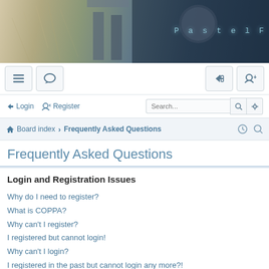[Figure (illustration): Forum banner header with illustrated background showing architectural sketch elements on left and dark cloudy background on right, with glowing text 'Pastel Forum' on the right side]
[Figure (screenshot): Forum toolbar with hamburger menu icon and speech bubble icon on left, login arrow icon and user-plus icon on right]
Login   Register   Search...
Board index › Frequently Asked Questions
Frequently Asked Questions
Login and Registration Issues
Why do I need to register?
What is COPPA?
Why can't I register?
I registered but cannot login!
Why can't I login?
I registered in the past but cannot login any more?!
I've lost my password!
Why do I get logged off automatically?